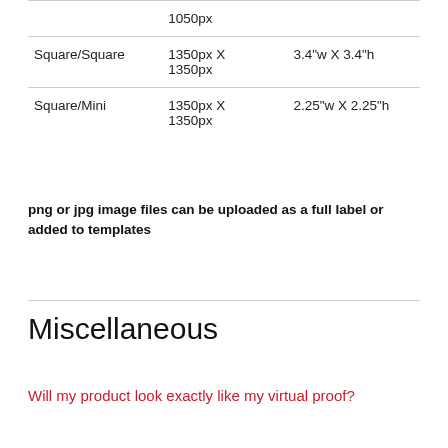|  | Pixel Dimensions | Print Size |
| --- | --- | --- |
|  | 1050px |  |
| Square/Square | 1350px X 1350px | 3.4"w X 3.4"h |
| Square/Mini | 1350px X 1350px | 2.25"w X 2.25"h |
png or jpg image files can be uploaded as a full label or added to templates
Miscellaneous
Will my product look exactly like my virtual proof?